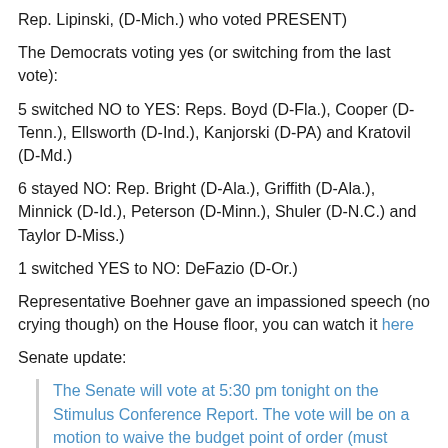Rep. Lipinski, (D-Mich.) who voted PRESENT)
The Democrats voting yes (or switching from the last vote):
5 switched NO to YES: Reps. Boyd (D-Fla.), Cooper (D-Tenn.), Ellsworth (D-Ind.), Kanjorski (D-PA) and Kratovil (D-Md.)
6 stayed NO: Rep. Bright (D-Ala.), Griffith (D-Ala.), Minnick (D-Id.), Peterson (D-Minn.), Shuler (D-N.C.) and Taylor D-Miss.)
1 switched YES to NO: DeFazio (D-Or.)
Representative Boehner gave an impassioned speech (no crying though) on the House floor, you can watch it here
Senate update:
The Senate will vote at 5:30 pm tonight on the Stimulus Conference Report. The vote will be on a motion to waive the budget point of order (must achieve 60 votes) and under the order the vote on the motion to waive will count as final passage of the conference report.
Keep in mind this vote will be held open for a bit in order for all Members to be on the record and their vote